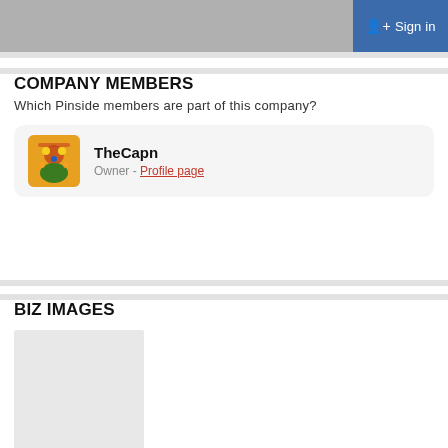Sign in
COMPANY MEMBERS
Which Pinside members are part of this company?
TheCapn
Owner - Profile page
BIZ IMAGES
[Figure (photo): Blank placeholder image for biz images]